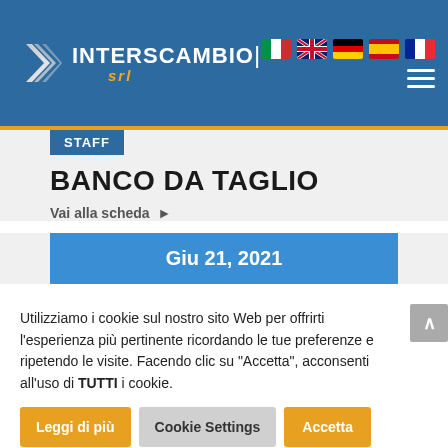[Figure (logo): Interscambio srl logo with chevron icon on blue header background with language flags (Italian, English, German, Spanish, French) and hamburger menu]
STAFF
BANCO DA TAGLIO
Vai alla scheda ▶
Giu 21, 2021
Utilizziamo i cookie sul nostro sito Web per offrirti l'esperienza più pertinente ricordando le tue preferenze e ripetendo le visite. Facendo clic su "Accetta", acconsenti all'uso di TUTTI i cookie.
Leggi di più | Cookie Settings | Accetta